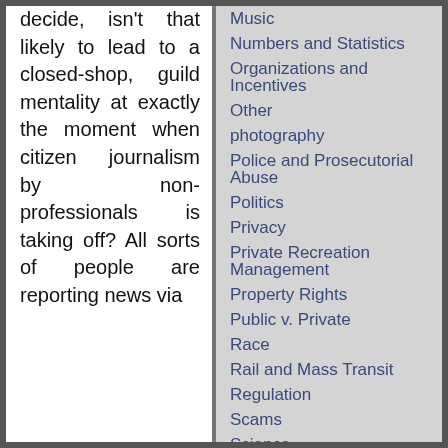decide, isn't that likely to lead to a closed-shop, guild mentality at exactly the moment when citizen journalism by non-professionals is taking off? All sorts of people are reporting news via
Music
Numbers and Statistics
Organizations and Incentives
Other
photography
Police and Prosecutorial Abuse
Politics
Privacy
Private Recreation Management
Property Rights
Public v. Private
Race
Rail and Mass Transit
Regulation
Scams
Science
Second Ammendment
Small Business
Sports
Taxes
Technology